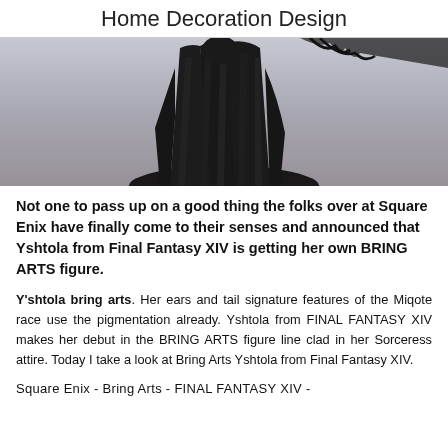Home Decoration Design
[Figure (photo): A dark action figure with a black flowing cape/cloak, appearing to be a character from Final Fantasy XIV, photographed against a light gray background.]
Not one to pass up on a good thing the folks over at Square Enix have finally come to their senses and announced that Yshtola from Final Fantasy XIV is getting her own BRING ARTS figure.
Y'shtola bring arts. Her ears and tail signature features of the Miqote race use the pigmentation already. Yshtola from FINAL FANTASY XIV makes her debut in the BRING ARTS figure line clad in her Sorceress attire. Today I take a look at Bring Arts Yshtola from Final Fantasy XIV.
Square Enix - Bring Arts - FINAL FANTASY XIV -